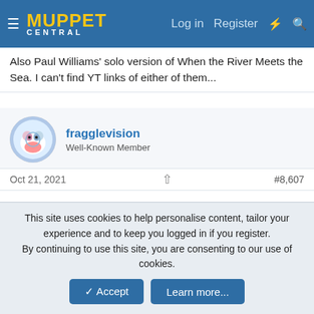Muppet Central — Log in | Register
Also Paul Williams' solo version of When the River Meets the Sea. I can't find YT links of either of them...
fragglevision
Well-Known Member
Oct 21, 2021  #8,607
Found Stompin on the East Side after... I also have an MP3 copy of 31 Bands Trash 31 Songs from Sesame Street if anyone wants it
Muppetfitu999
This site uses cookies to help personalise content, tailor your experience and to keep you logged in if you register.
By continuing to use this site, you are consenting to our use of cookies.